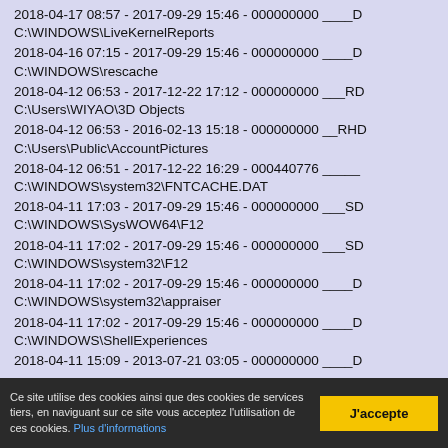2018-04-17 08:57 - 2017-09-29 15:46 - 000000000 ____D C:\WINDOWS\LiveKernelReports
2018-04-16 07:15 - 2017-09-29 15:46 - 000000000 ____D C:\WINDOWS\rescache
2018-04-12 06:53 - 2017-12-22 17:12 - 000000000 ___RD C:\Users\WIYAO\3D Objects
2018-04-12 06:53 - 2016-02-13 15:18 - 000000000 __RHD C:\Users\Public\AccountPictures
2018-04-12 06:51 - 2017-12-22 16:29 - 000440776 _____ C:\WINDOWS\system32\FNTCACHE.DAT
2018-04-11 17:03 - 2017-09-29 15:46 - 000000000 ___SD C:\WINDOWS\SysWOW64\F12
2018-04-11 17:02 - 2017-09-29 15:46 - 000000000 ___SD C:\WINDOWS\system32\F12
2018-04-11 17:02 - 2017-09-29 15:46 - 000000000 ____D C:\WINDOWS\system32\appraiser
2018-04-11 17:02 - 2017-09-29 15:46 - 000000000 ____D C:\WINDOWS\ShellExperiences
2018-04-11 15:09 - 2013-07-21 03:05 - 000000000 ____D C:\WINDOWS\...
Ce site utilise des cookies ainsi que des cookies de services tiers, en naviguant sur ce site vous acceptez l'utilisation de ces cookies. Plus d'informations
J'accepte